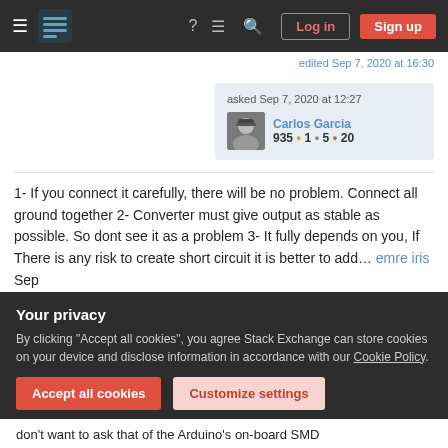Stack Exchange navigation bar with hamburger menu, logo, help, chat, search icons, Log in and Sign up buttons
edited Sep 7, 2020 at 16:30
asked Sep 7, 2020 at 12:27
Carlos Garcia
935 ●1 ●5 ●20
1- If you connect it carefully, there will be no problem. Connect all ground together 2- Converter must give output as stable as possible. So dont see it as a problem 3- It fully depends on you, If There is any risk to create short circuit it is better to add... emre iris Sep
Your privacy
By clicking "Accept all cookies", you agree Stack Exchange can store cookies on your device and disclose information in accordance with our Cookie Policy.
Accept all cookies
Customize settings
don't want to ask that of the Arduino's on-board SMD